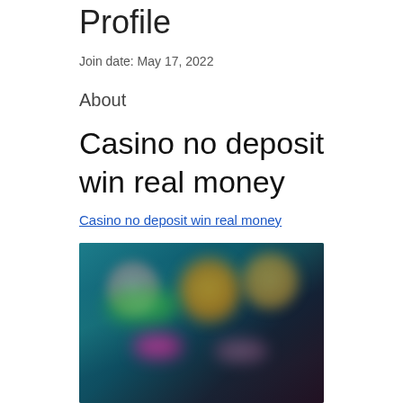Profile
Join date: May 17, 2022
About
Casino no deposit win real money
Casino no deposit win real money
[Figure (screenshot): Blurred screenshot of a casino game interface with colorful characters and game elements on a dark background]